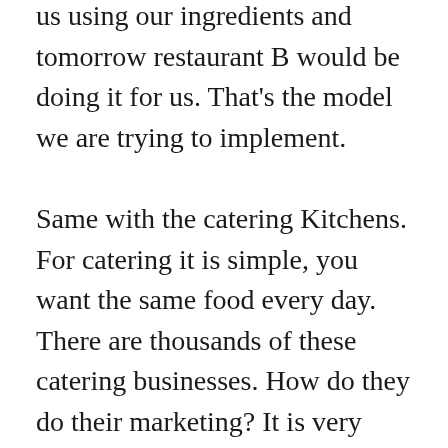us using our ingredients and tomorrow restaurant B would be doing it for us. That's the model we are trying to implement.

Same with the catering Kitchens. For catering it is simple, you want the same food every day. There are thousands of these catering businesses. How do they do their marketing? It is very limited. Again, we are giving them a platform. You put your food on, if people order, you just do the delivery, and we take a commission. So from the operational perspective, it is not that big a shift. It is a similar model.